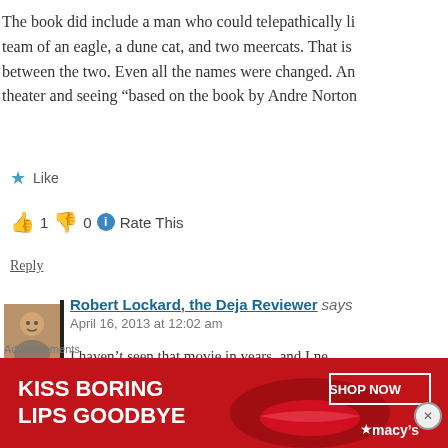The book did include a man who could telepathically link with a team of an eagle, a dune cat, and two meercats. That is between the two. Even all the names were changed. An theater and seeing “based on the book by Andre Norton”
★ Like
👍 1 👎 0 ℹ Rate This
Reply
Robert Lockard, the Deja Reviewer says
April 16, 2013 at 12:02 am
I haven’t seen that movie in years, and I ne based on a book. Honestly, it’s on the s
Advertisements
[Figure (photo): Macy's advertisement banner: KISS BORING LIPS GOODBYE with SHOP NOW button and Macy's logo]